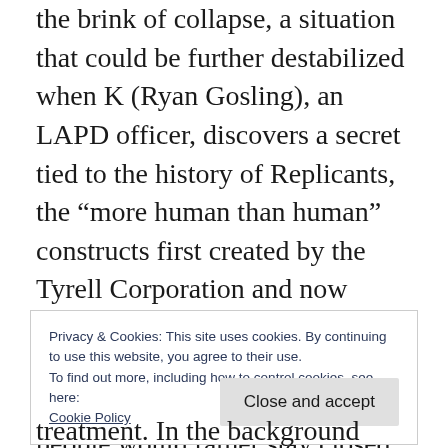the brink of collapse, a situation that could be further destabilized when K (Ryan Gosling), an LAPD officer, discovers a secret tied to the history of Replicants, the “more human than human” constructs first created by the Tyrell Corporation and now manufactured by Niander Wallace (Jared Leto). K’s investigation opens a lot of boxes people would rather stay closed. To help him he seeks out the legendary Blade Runner Deckard (Harrison Ford), now living the life of a recluse.
Privacy & Cookies: This site uses cookies. By continuing to use this website, you agree to their use.
To find out more, including how to control cookies, see here: Cookie Policy
treatment. In the background though is a